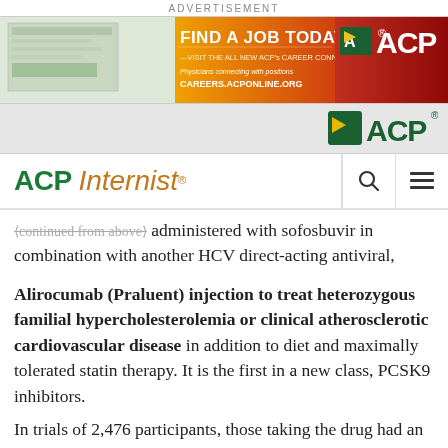ADVERTISEMENT
[Figure (illustration): ACP Career Connection advertisement banner: Find a Job Today! Visit the all new ACP's Career Connection. Physicians connecting with positions. Careers.acponline.org.]
ACP logo navigation bar
ACP Internist site header with search and menu icons
administered with sofosbuvir in combination with another HCV direct-acting antiviral, including daclatasvir.
Alirocumab (Praluent) injection to treat heterozygous familial hypercholesterolemia or clinical atherosclerotic cardiovascular disease in addition to diet and maximally tolerated statin therapy. It is the first in a new class, PCSK9 inhibitors.
In trials of 2,476 participants, those taking the drug had an average reduction in LDL cholesterol ranging from 36% to